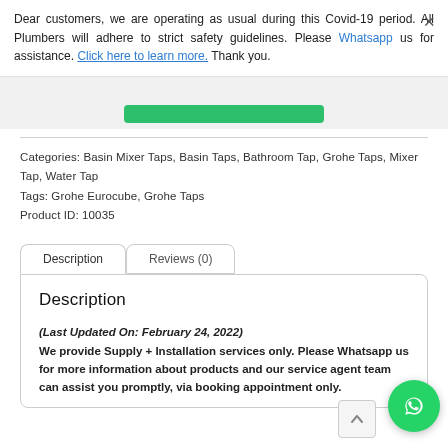Dear customers, we are operating as usual during this Covid-19 period. All Plumbers will adhere to strict safety guidelines. Please Whatsapp us for assistance. Click here to learn more. Thank you.
Categories: Basin Mixer Taps, Basin Taps, Bathroom Tap, Grohe Taps, Mixer Tap, Water Tap
Tags: Grohe Eurocube, Grohe Taps
Product ID: 10035
Description
Reviews (0)
Description
(Last Updated On: February 24, 2022)
We provide Supply + Installation services only. Please Whatsapp us for more information about products and our service agent team can assist you promptly, via booking appointment only.